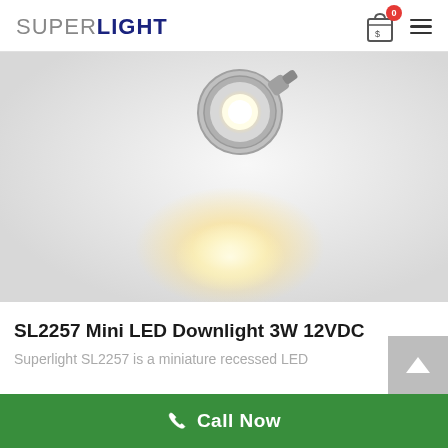SUPERLIGHT
[Figure (photo): Close-up photo of a silver/chrome mini LED downlight recessed fixture emitting warm yellow-white light on a grey/white background]
SL2257 Mini LED Downlight 3W 12VDC
Superlight SL2257 is a miniature recessed LED
Call Now